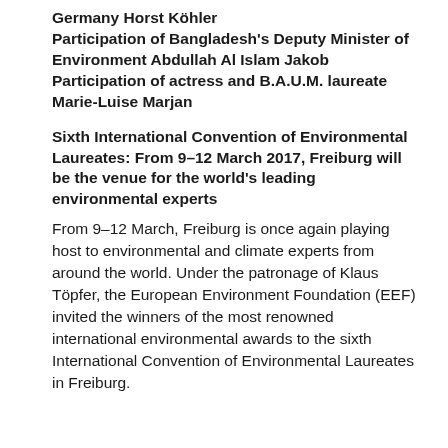Germany Horst Köhler
Participation of Bangladesh's Deputy Minister of Environment Abdullah Al Islam Jakob
Participation of actress and B.A.U.M. laureate Marie-Luise Marjan
Sixth International Convention of Environmental Laureates: From 9–12 March 2017, Freiburg will be the venue for the world's leading environmental experts
From 9–12 March, Freiburg is once again playing host to environmental and climate experts from around the world. Under the patronage of Klaus Töpfer, the European Environment Foundation (EEF) invited the winners of the most renowned international environmental awards to the sixth International Convention of Environmental Laureates in Freiburg.